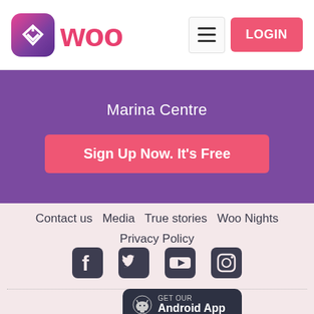[Figure (logo): Woo dating app logo with W icon and 'woo' wordmark in pink/red]
LOGIN
Marina Centre
Sign Up Now. It's Free
Contact us   Media   True stories   Woo Nights   Privacy Policy
[Figure (illustration): Social media icons: Facebook, Twitter, YouTube, Instagram]
GET THE APP!
[Figure (illustration): Get our Android App button (dark background)]
[Figure (illustration): Download on the App Store button (dark background, partially visible)]